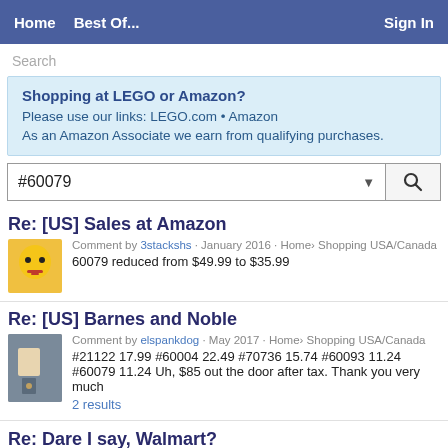Home   Best Of...   Sign In
Search
Shopping at LEGO or Amazon?
Please use our links: LEGO.com • Amazon
As an Amazon Associate we earn from qualifying purchases.
#60079
Re: [US] Sales at Amazon
Comment by 3stackshs · January 2016 · Home› Shopping USA/Canada
60079 reduced from $49.99 to $35.99
Re: [US] Barnes and Noble
Comment by elspankdog · May 2017 · Home› Shopping USA/Canada
#21122 17.99 #60004 22.49 #70736 15.74 #60093 11.24
#60079 11.24 Uh, $85 out the door after tax. Thank you very much
2 results
Re: Dare I say, Walmart?